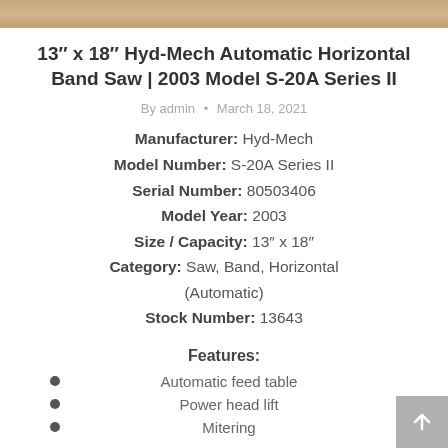[Figure (photo): Top banner image showing a horizontal band saw machine]
13″ x 18″ Hyd-Mech Automatic Horizontal Band Saw | 2003 Model S-20A Series II
By admin • March 18, 2021
Manufacturer: Hyd-Mech
Model Number: S-20A Series II
Serial Number: 80503406
Model Year: 2003
Size / Capacity: 13″ x 18″
Category: Saw, Band, Horizontal (Automatic)
Stock Number: 13643
Features:
Automatic feed table
Power head lift
Mitering